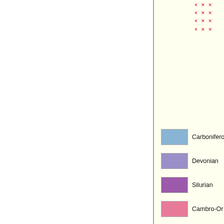[Figure (map): Partial geological map legend showing colored swatches for Carboniferous, Devonian, Silurian, and Cambro-Ordovician periods, with X-mark pattern in top-right corner on a pale yellow background]
North-south cro
Murzuq Basin
Large intracrator Chad. The Bas Quaternary, with part. .
The potential re Memouniat, Haw